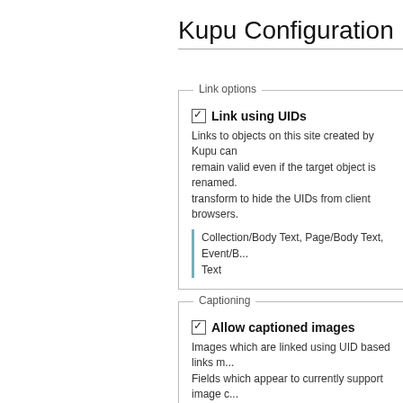Kupu Configuration
Link options
Link using UIDs
Links to objects on this site created by Kupu can remain valid even if the target object is renamed. transform to hide the UIDs from client browsers.
Collection/Body Text, Page/Body Text, Event/Body Text
Captioning
Allow captioned images
Images which are linked using UID based links may be captioned. Fields which appear to currently support image captioning:
Collection/Body Text, Page/Body Text, Event/Body Text
Fields which use kupu but do not support image captioning:
ComplexType/Body, ComplexType/rich, Demo/Body SimpleProtectedType/Body, Simple Type/Body